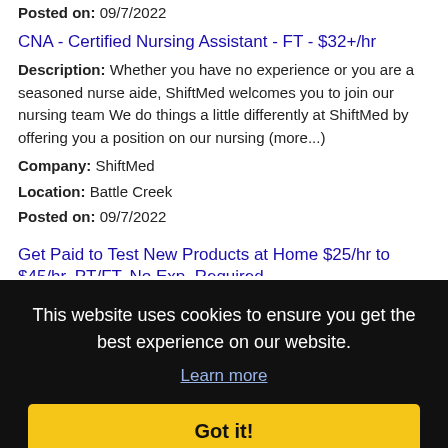Posted on: 09/7/2022
CNA - Certified Nursing Assistant - FT - $32+/hr
Description: Whether you have no experience or you are a seasoned nurse aide, ShiftMed welcomes you to join our nursing team We do things a little differently at ShiftMed by offering you a position on our nursing (more...)
Company: ShiftMed
Location: Battle Creek
Posted on: 09/7/2022
Get Paid to Test New Products at Home $25/hr to $45/hr. PT/FT. No Exp. Required
This website uses cookies to ensure you get the best experience on our website.
Learn more
Got it!